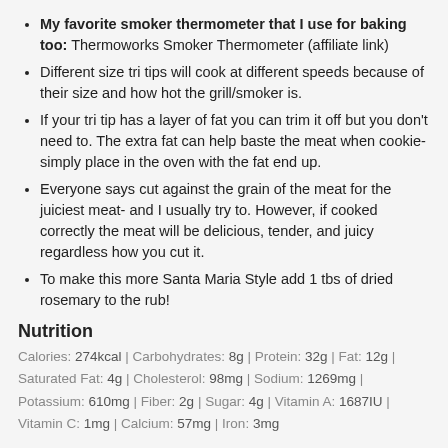My favorite smoker thermometer that I use for baking too: Thermoworks Smoker Thermometer (affiliate link)
Different size tri tips will cook at different speeds because of their size and how hot the grill/smoker is.
If your tri tip has a layer of fat you can trim it off but you don't need to. The extra fat can help baste the meat when cookie- simply place in the oven with the fat end up.
Everyone says cut against the grain of the meat for the juiciest meat- and I usually try to. However, if cooked correctly the meat will be delicious, tender, and juicy regardless how you cut it.
To make this more Santa Maria Style add 1 tbs of dried rosemary to the rub!
Nutrition
Calories: 274kcal | Carbohydrates: 8g | Protein: 32g | Fat: 12g | Saturated Fat: 4g | Cholesterol: 98mg | Sodium: 1269mg | Potassium: 610mg | Fiber: 2g | Sugar: 4g | Vitamin A: 1687IU | Vitamin C: 1mg | Calcium: 57mg | Iron: 3mg